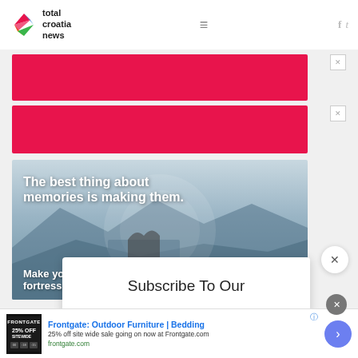[Figure (logo): Total Croatia News logo with colorful C icon and text]
[Figure (infographic): Red advertisement banner 1]
[Figure (infographic): Red advertisement banner 2]
[Figure (photo): Travel advertisement photo with text: The best thing about memories is making them. Make yo... fortress...]
Subscribe To Our
[Figure (infographic): Bottom banner ad: Frontgate: Outdoor Furniture | Bedding. 25% off site wide sale going on now at Frontgate.com. frontgate.com]